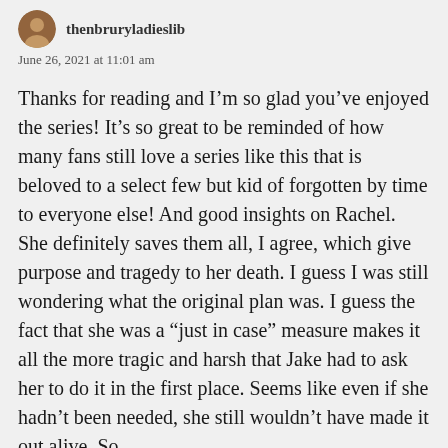thenbruryladieslib
June 26, 2021 at 11:01 am
Thanks for reading and I’m so glad you’ve enjoyed the series! It’s so great to be reminded of how many fans still love a series like this that is beloved to a select few but kid of forgotten by time to everyone else! And good insights on Rachel. She definitely saves them all, I agree, which give purpose and tragedy to her death. I guess I was still wondering what the original plan was. I guess the fact that she was a “just in case” measure makes it all the more tragic and harsh that Jake had to ask her to do it in the first place. Seems like even if she hadn’t been needed, she still wouldn’t have made it out alive. So